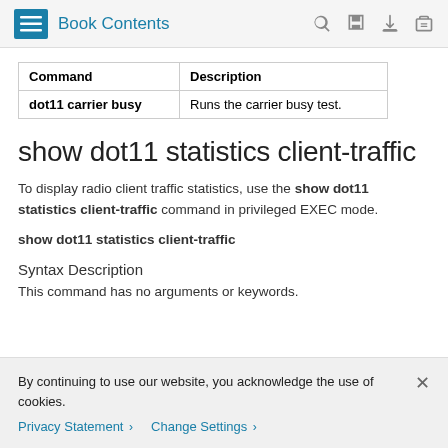Book Contents
| Command | Description |
| --- | --- |
| dot11 carrier busy | Runs the carrier busy test. |
show dot11 statistics client-traffic
To display radio client traffic statistics, use the show dot11 statistics client-traffic command in privileged EXEC mode.
show dot11 statistics client-traffic
Syntax Description
This command has no arguments or keywords.
By continuing to use our website, you acknowledge the use of cookies.
Privacy Statement > Change Settings >